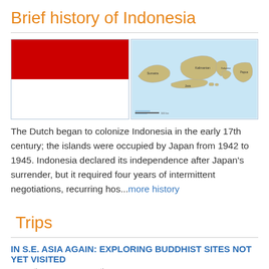Brief history of Indonesia
[Figure (illustration): Flag of Indonesia: red upper half, white lower half, with light blue border]
[Figure (map): Map of Indonesia showing the archipelago islands]
The Dutch began to colonize Indonesia in the early 17th century; the islands were occupied by Japan from 1942 to 1945. Indonesia declared its independence after Japan's surrender, but it required four years of intermittent negotiations, recurring hos...more history
Trips
IN S.E. ASIA AGAIN: EXPLORING BUDDHIST SITES NOT YET VISITED
May 4th 2012 -» May 24th 2012
Blogged From